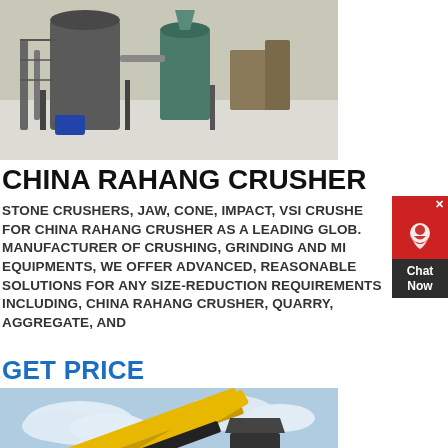[Figure (photo): Industrial grinding/milling equipment with large cylindrical tanks and machinery in an outdoor setting with snow on the ground]
CHINA RAHANG CRUSHER
STONE CRUSHERS, JAW, CONE, IMPACT, VSI CRUSHER FOR CHINA RAHANG CRUSHER AS A LEADING GLOBAL MANUFACTURER OF CRUSHING, GRINDING AND MINING EQUIPMENTS, WE OFFER ADVANCED, REASONABLE SOLUTIONS FOR ANY SIZE-REDUCTION REQUIREMENTS INCLUDING, CHINA RAHANG CRUSHER, QUARRY, AGGREGATE, AND
GET PRICE
[Figure (photo): Yellow industrial conveyor belt and screening equipment (crusher/aggregate processing machinery) against a blue sky]